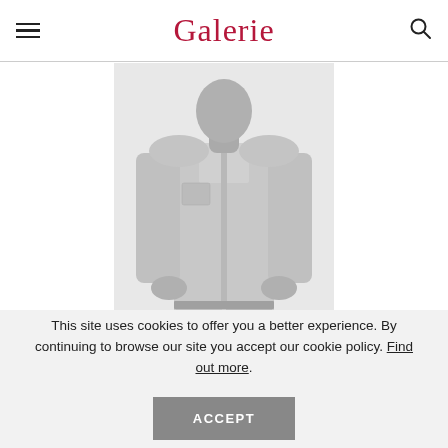Galerie
[Figure (photo): Black and white photo of Peter Schlesinger, a man in a light button-up shirt and trousers with hands in pockets, cropped at torso/thighs]
Peter Schlesinger
PHOTO: ©ERIC BOMAN
This site uses cookies to offer you a better experience. By continuing to browse our site you accept our cookie policy. Find out more.
ACCEPT
and successful sculptor. His elegant earthenware